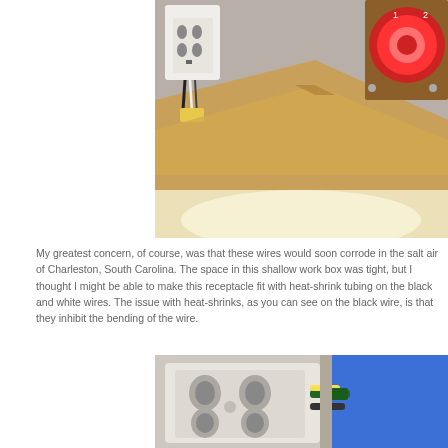[Figure (photo): Interior boat electrical compartment showing a white electrical outlet/receptacle mounted on a wall, a red battery switch on a wooden panel, and visible wiring below the outlet. The scene is lit from below with a bright glow.]
My greatest concern, of course, was that these wires would soon corrode in the salt air of Charleston, South Carolina. The space in this shallow work box was tight, but I thought I might be able to make this receptacle fit with heat-shrink tubing on the black and white wires. The issue with heat-shrinks, as you can see on the black wire, is that they inhibit the bending of the wire.
[Figure (photo): Close-up of an electrical receptacle (outlet) partially pulled from a wall box, with corroded or heat-shrink wrapped wires visible. A blue insulating material is visible in the background.]